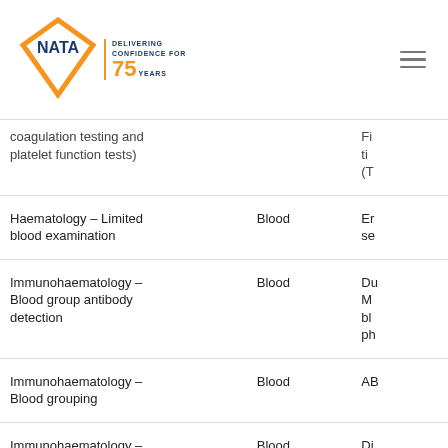NATA - Delivering Confidence for 75 Years
| Test/Examination | Specimen | Details |
| --- | --- | --- |
| coagulation testing and platelet function tests) |  | Fi ti (T |
| Haematology - Limited blood examination | Blood | Er se |
| Immunohaematology - Blood group antibody detection | Blood | Du M bl ph |
| Immunohaematology - Blood grouping | Blood | AB |
| Immunohaematology - Determination of compatibility of blood donor units | Blood | Di (D Ex gr ch dc de |